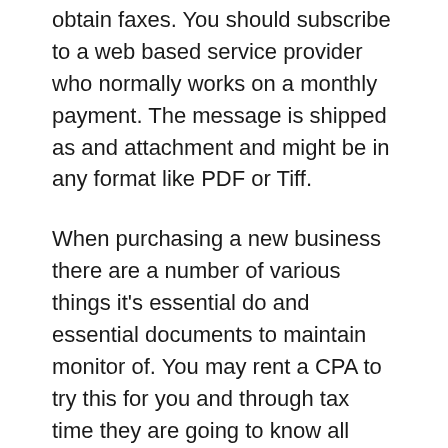obtain faxes. You should subscribe to a web based service provider who normally works on a monthly payment. The message is shipped as and attachment and might be in any format like PDF or Tiff.
When purchasing a new business there are a number of various things it's essential do and essential documents to maintain monitor of. You may rent a CPA to try this for you and through tax time they are going to know all about your current situation and enable you file your taxes correctly.
Additionally, as we have already discovered that almost all customers these days try to resolve their pain-factors and points on their very own even